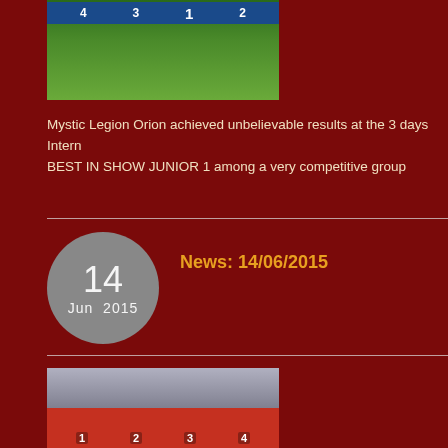[Figure (photo): Photo of a grassy field/sports ground with numbered position markers (4, 3, 1, 2) on a blue banner in the background.]
Mystic Legion Orion achieved unbelievable results at the 3 days Intern... BEST IN SHOW JUNIOR 1 among a very competitive group
News: 14/06/2015
[Figure (photo): Photo of a dog show competition on a red carpet, with handlers kneeling next to dogs at numbered positions 1, 2, 3, 4. Large crowd visible in the background inside an exhibition hall.]